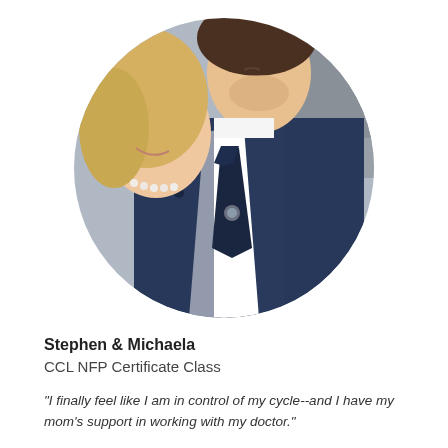[Figure (photo): Circular cropped wedding photo of a couple. A man in a navy blue patterned suit with a dark tie leans close to a smiling woman with blonde hair and pearl necklace.]
Stephen & Michaela
CCL NFP Certificate Class
"I finally feel like I am in control of my cycle--and I have my mom's support in working with my doctor."
"This has brought tremendous value to my life and